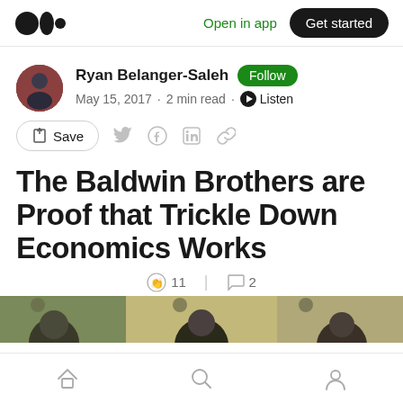Open in app  Get started
Ryan Belanger-Saleh  Follow
May 15, 2017 · 2 min read · Listen
Save
The Baldwin Brothers are Proof that Trickle Down Economics Works
11  2
[Figure (photo): Partial photo strip showing multiple people's faces/heads]
Home  Search  Profile